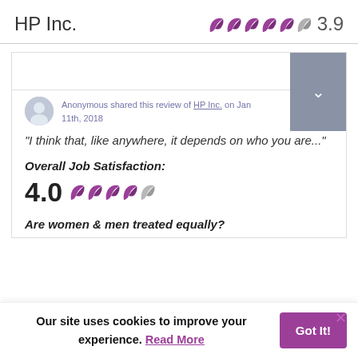HP Inc.   3.9
[Figure (screenshot): A review card for HP Inc. showing a partially visible reviewer avatar and attribution text 'Anonymous shared this review of HP Inc. on Jan 11th, 2018', an italic quote 'I think that, like anywhere, it depends on who you are...', an Overall Job Satisfaction rating of 4.0 with wing/feather icons (4 purple filled, 1 half gray), and a question 'Are women & men treated equally?']
"I think that, like anywhere, it depends on who you are..."
Overall Job Satisfaction:
4.0
Are women & men treated equally?
Our site uses cookies to improve your experience. Read More